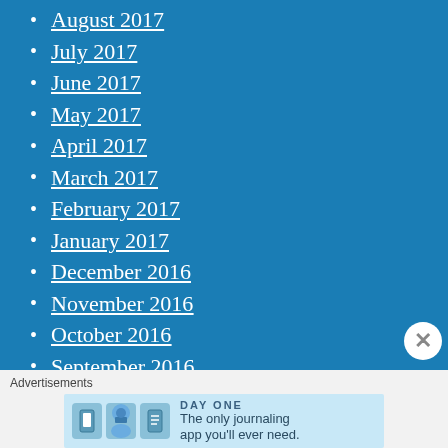August 2017
July 2017
June 2017
May 2017
April 2017
March 2017
February 2017
January 2017
December 2016
November 2016
October 2016
September 2016
August 2016
Advertisements
[Figure (other): Day One journaling app advertisement banner with icons and text: The only journaling app you'll ever need.]